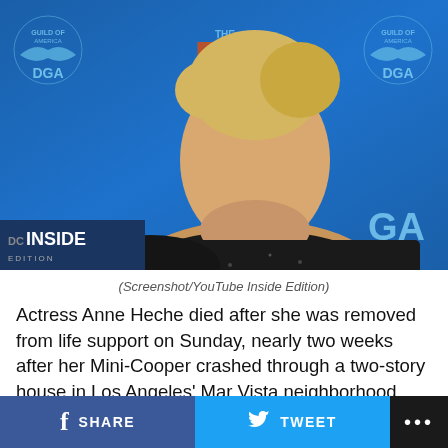[Figure (photo): Anne Heche posing at a DGA event in front of a blue DGA backdrop, wearing a black outfit, photographed from a side-profile angle. DG Inside Edition logo visible bottom left.]
(Screenshot/YouTube Inside Edition)
Actress Anne Heche died after she was removed from life support on Sunday, nearly two weeks after her Mini-Cooper crashed through a two-story house in Los Angeles' Mar Vista neighborhood. Investigators with the Los Angeles Police Department believe she was intoxicated at the time.
SHARE  TWEET  ...